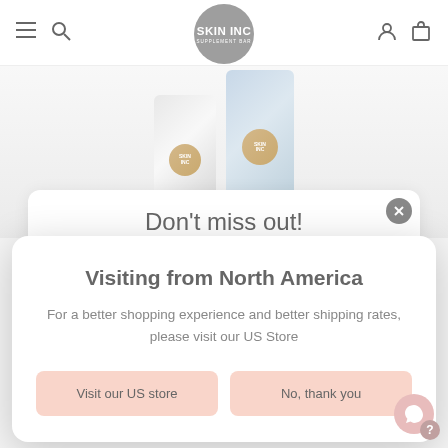SKIN INC SUPPLEMENT BAR - Navigation header with hamburger menu, search, logo, account and cart icons
[Figure (photo): Skin Inc product tubes - white and light blue tubes with gold circular logo against light grey background]
Don't miss out!
Visiting from North America
For a better shopping experience and better shipping rates, please visit our US Store
Visit our US store
No, thank you